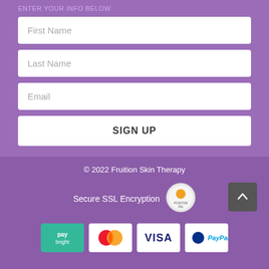First Name
Last Name
Email
SIGN UP
© 2022 Fruition Skin Therapy
Secure SSL Encryption
[Figure (logo): Positive SSL badge]
[Figure (logo): PayBright payment logo]
[Figure (logo): Mastercard payment logo]
[Figure (logo): Visa payment logo]
[Figure (logo): PayPal payment logo]